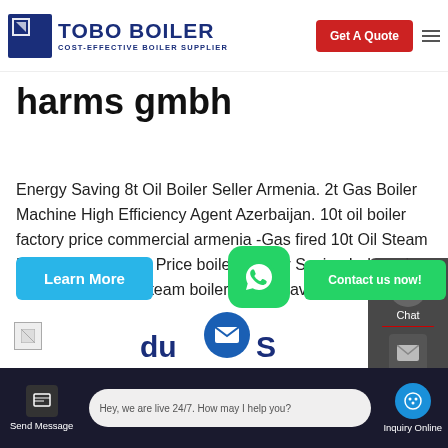TOBO BOILER - COST-EFFECTIVE BOILER SUPPLIER | Get A Quote
harms gmbh
Energy Saving 8t Oil Boiler Seller Armenia. 2t Gas Boiler Machine High Efficiency Agent Azerbaijan. 10t oil boiler factory price commercial armenia -Gas fired 10t Oil Steam Boiler Armenia. 10t Price boiler Energy Saving Indonesia. 10t h wood pellet steam boiler - bistroflavors. 10t/h Wood Coal Fired Boilers for hospital Smoke Application : Textile printing and dyeing … ct
Send Message | Hey, we are live 24/7. How may I help you? | Inquiry Online